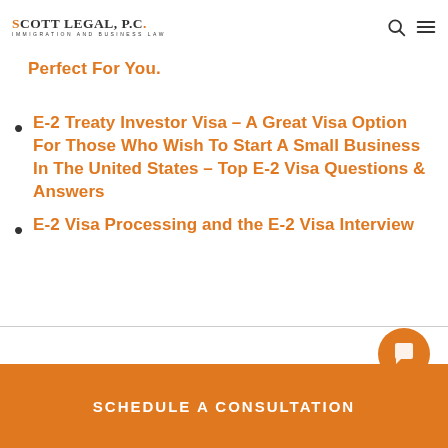SCOTT LEGAL, P.C. IMMIGRATION AND BUSINESS LAW
Perfect For You.
E-2 Treaty Investor Visa – A Great Visa Option For Those Who Wish To Start A Small Business In The United States – Top E-2 Visa Questions & Answers
E-2 Visa Processing and the E-2 Visa Interview
SCHEDULE A CONSULTATION